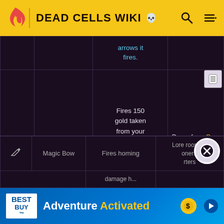DEAD CELLS WIKI
| Icon | Name | Description | How to obtain |
| --- | --- | --- | --- |
| [icon] | Money Shooter | Fires 150 gold taken from your pockets to deal critical damage. Won't fire if you can't pay. | Drops from Go... Kamikazes (1.7% |
| [icon] | Magic Bow | Fires homing damage h... | Lore room l... oners' rters |
Prisoner Bobby is back, better than ever! Enter the Panchaku Update is out now for PC!
[Figure (screenshot): Best Buy Adventure Activated advertisement banner]